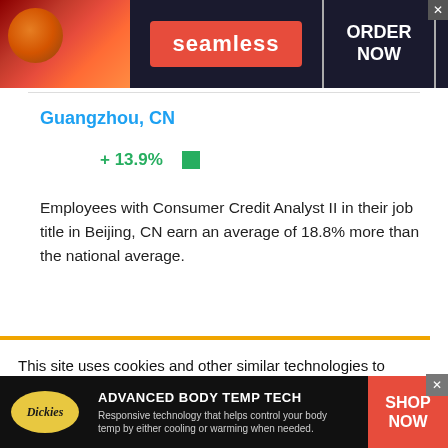[Figure (screenshot): Seamless food delivery advertisement banner with pizza image, red Seamless logo badge, and ORDER NOW call to action in white box on dark background]
Guangzhou, CN
+ 13.9%  ■
Employees with Consumer Credit Analyst II in their job title in Beijing, CN earn an average of 18.8% more than the national average.
This site uses cookies and other similar technologies to provide site functionality, analyze traffic and usage, and
[Figure (screenshot): Dickies Advanced Body Temp Tech advertisement banner on dark background with logo, product description, and red SHOP NOW button]